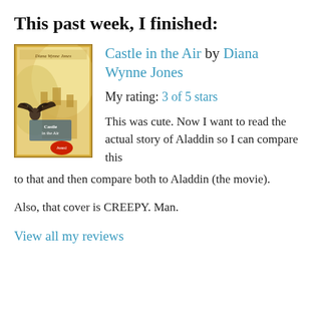This past week, I finished:
[Figure (illustration): Book cover of 'Castle in the Air' by Diana Wynne Jones, showing a flying creature and a castle, with a golden/yellow color scheme. Author name 'Diana Wynne Jones' and title 'Castle in the Air' visible on cover.]
Castle in the Air by Diana Wynne Jones
My rating: 3 of 5 stars

This was cute. Now I want to read the actual story of Aladdin so I can compare this to that and then compare both to Aladdin (the movie).

Also, that cover is CREEPY. Man.
View all my reviews